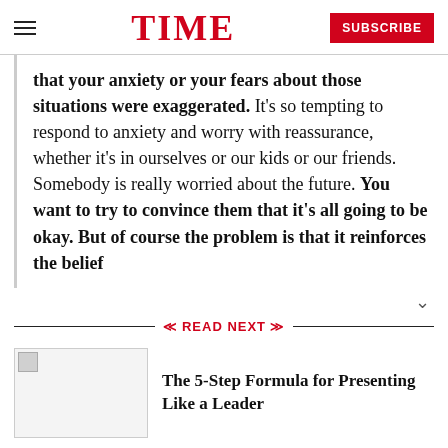TIME
that your anxiety or your fears about those situations were exaggerated. It's so tempting to respond to anxiety and worry with reassurance, whether it's in ourselves or our kids or our friends. Somebody is really worried about the future. You want to try to convince them that it's all going to be okay. But of course the problem is that it reinforces the belief
READ NEXT
The 5-Step Formula for Presenting Like a Leader